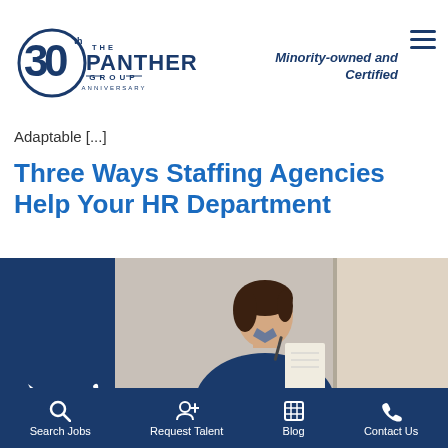The Panther Group — 30th Anniversary — Minority-owned and Certified
E–R P — Partner We partner with you to land that next opportunity. We collaborate with your team to match the right candidates to your open positions. We are your career and recruiting PARTNER.
Minority-owned and Certified
Three Ways Staffing Agencies Help Your HR Department
Adaptable [...]
[Figure (photo): A professional woman in a navy blazer holding a pen and paper, looking toward a window in an office setting. Dark blue panel on the left with a white panther logo.]
Search Jobs | Request Talent | Blog | Contact Us